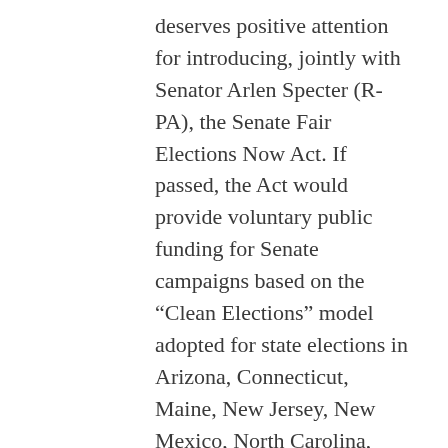deserves positive attention for introducing, jointly with Senator Arlen Specter (R-PA), the Senate Fair Elections Now Act. If passed, the Act would provide voluntary public funding for Senate campaigns based on the “Clean Elections” model adopted for state elections in Arizona, Connecticut, Maine, New Jersey, New Mexico, North Carolina, Vermont, and a growing number of municipalities. Clean Elections systems provide full public funding, including capped matching funds against any privately financed candidates, to qualified candidates with sufficient grass-roots support who agree to forgo private contributions and abide by spending limits.